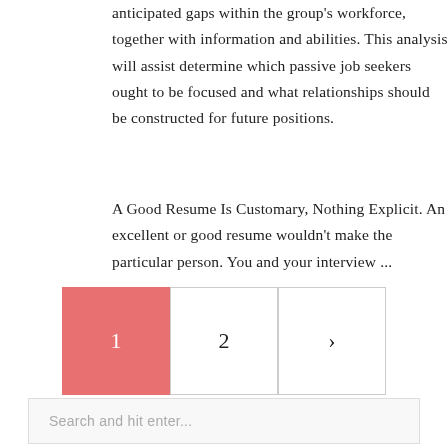anticipated gaps within the group's workforce, together with information and abilities. This analysis will assist determine which passive job seekers ought to be focused and what relationships should be constructed for future positions.
A Good Resume Is Customary, Nothing Explicit. An excellent or good resume wouldn't make the particular person. You and your interview ...
Pagination: 1, 2, >